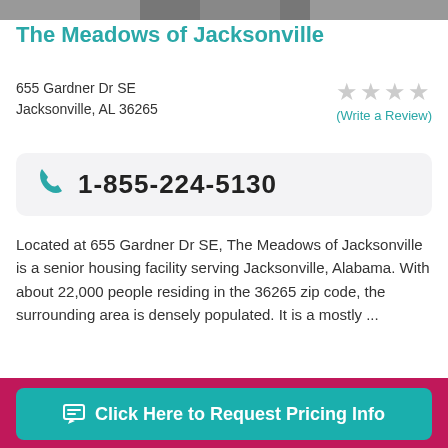[Figure (photo): Partial photo strip at top of page showing a person]
The Meadows of Jacksonville
655 Gardner Dr SE
Jacksonville, AL 36265
[Figure (other): Star rating — empty stars (Write a Review)]
1-855-224-5130
Located at 655 Gardner Dr SE, The Meadows of Jacksonville is a senior housing facility serving Jacksonville, Alabama. With about 22,000 people residing in the 36265 zip code, the surrounding area is densely populated. It is a mostly ...
11 miles away from Oxford, AL
Click Here to Request Pricing Info